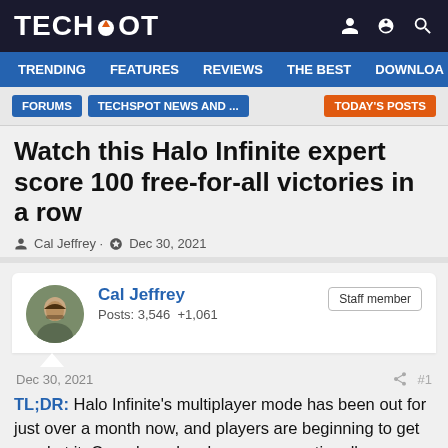TECHSPOT
TRENDING  FEATURES  REVIEWS  THE BEST  DOWNLOA
FORUMS  TECHSPOT NEWS AND ...  TODAY'S POSTS
Watch this Halo Infinite expert score 100 free-for-all victories in a row
Cal Jeffrey · Dec 30, 2021
Cal Jeffrey
Posts: 3,546  +1,061
Staff member
Dec 30, 2021  #1
TL;DR: Halo Infinite's multiplayer mode has been out for just over a month now, and players are beginning to get good at it. One player has become exceptionally